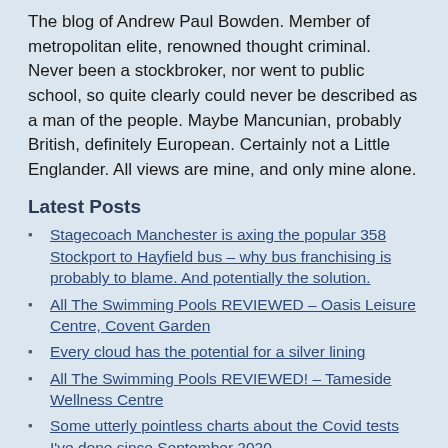The blog of Andrew Paul Bowden.  Member of metropolitan elite, renowned thought criminal. Never been a stockbroker, nor went to public school, so quite clearly could never be described as a man of the people.  Maybe Mancunian, probably British, definitely European.  Certainly not a Little Englander.  All views are mine, and only mine alone.
Latest Posts
Stagecoach Manchester is axing the popular 358 Stockport to Hayfield bus – why bus franchising is probably to blame. And potentially the solution.
All The Swimming Pools REVIEWED – Oasis Leisure Centre, Covent Garden
Every cloud has the potential for a silver lining
All The Swimming Pools REVIEWED! – Tameside Wellness Centre
Some utterly pointless charts about the Covid tests I've done since September 2020
Why at least one much loved 6music presenter was